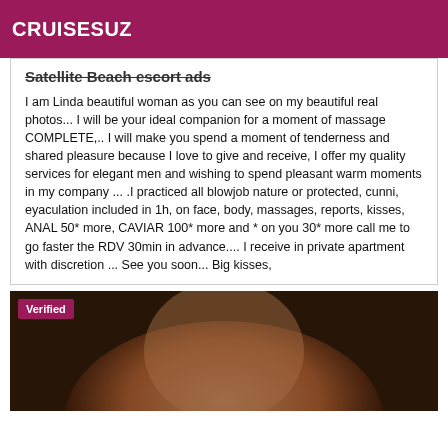CRUISESUZ
Satellite Beach escort ads
I am Linda beautiful woman as you can see on my beautiful real photos... I will be your ideal companion for a moment of massage COMPLETE,.. I will make you spend a moment of tenderness and shared pleasure because I love to give and receive, I offer my quality services for elegant men and wishing to spend pleasant warm moments in my company ... .I practiced all blowjob nature or protected, cunni, eyaculation included in 1h, on face, body, massages, reports, kisses, ANAL 50* more, CAVIAR 100* more and * on you 30* more call me to go faster the RDV 30min in advance.... I receive in private apartment with discretion ... See you soon... Big kisses,
[Figure (photo): Photo of a woman, dark background, verified badge overlay in top left corner]